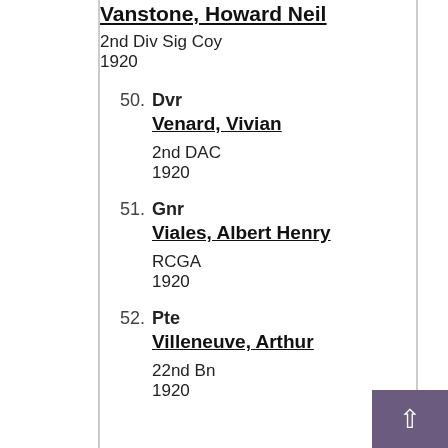Vanstone, Howard Neil
2nd Div Sig Coy
1920
50. Dvr
Venard, Vivian
2nd DAC
1920
51. Gnr
Viales, Albert Henry
RCGA
1920
52. Pte
Villeneuve, Arthur
22nd Bn
1920